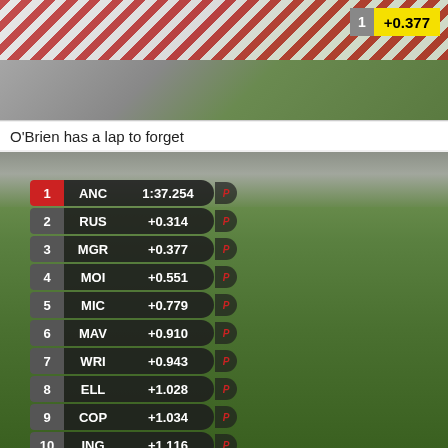[Figure (screenshot): Racing game screenshot showing track with lap time badge showing position 1 and +0.377]
O'Brien has a lap to forget
[Figure (screenshot): Racing game leaderboard showing 12 positions: 1 ANC 1:37.254, 2 RUS +0.314, 3 MGR +0.377, 4 MOI +0.551, 5 MIC +0.779, 6 MAV +0.910, 7 WRI +0.943, 8 ELL +1.028, 9 COP +1.034, 10 ING +1.116, 11 DLR +1.339, 12 O'B +1.414 (green)]